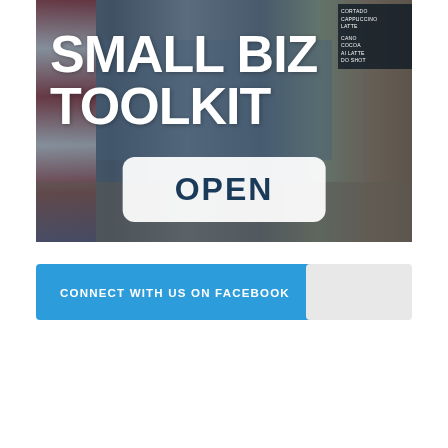[Figure (photo): Interior photo of a coffee shop or small business with an American flag, shelves with coffee bags, and a menu board on the right. Overlaid with large white bold text 'SMALL BIZ TOOLKIT' and a white rounded button with dark teal text 'OPEN'.]
CONNECT WITH US ON FACEBOOK